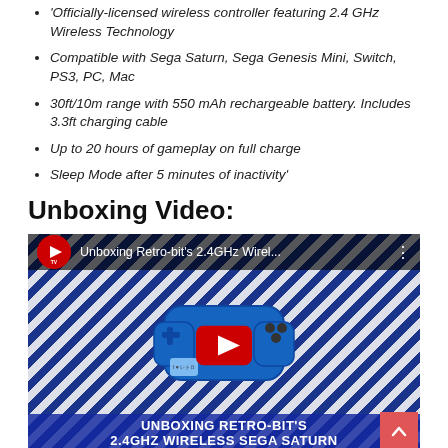'Officially-licensed wireless controller featuring 2.4 GHz Wireless Technology
Compatible with Sega Saturn, Sega Genesis Mini, Switch, PS3, PC, Mac
30ft/10m range with 550 mAh rechargeable battery. Includes 3.3ft charging cable
Up to 20 hours of gameplay on full charge
Sleep Mode after 5 minutes of inactivity'
Unboxing Video:
[Figure (screenshot): YouTube video thumbnail for 'Unboxing Retro-bit's 2.4GHz Wirel...' showing a blue wireless Sega Saturn controller with a red YouTube play button overlay and text 'UNBOXING RETRO-BIT'S 2.4GHZ WIRELESS SEGA SATURN' at the bottom on a blue and white zigzag patterned background.]